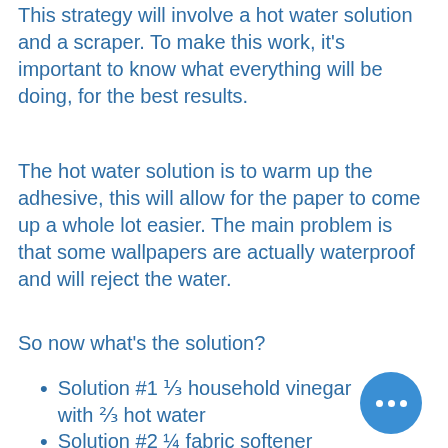This strategy will involve a hot water solution and a scraper. To make this work, it's important to know what everything will be doing, for the best results.
The hot water solution is to warm up the adhesive, this will allow for the paper to come up a whole lot easier. The main problem is that some wallpapers are actually waterproof and will reject the water.
So now what's the solution?
Solution #1 ⅓ household vinegar with ⅔ hot water
Solution #2 ¼ fabric softener